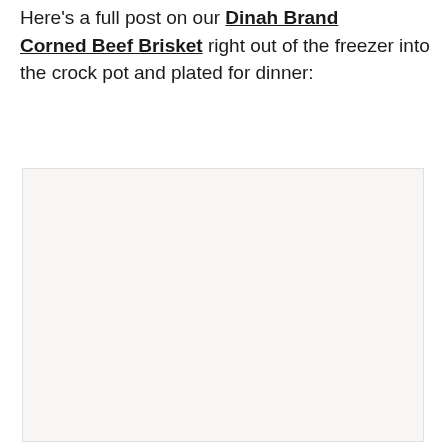Here's a full post on our Dinah Brand Corned Beef Brisket right out of the freezer into the crock pot and plated for dinner:
[Figure (photo): A blank/placeholder image area with light beige background, showing a plated corned beef brisket dish (image content not visible in this crop).]